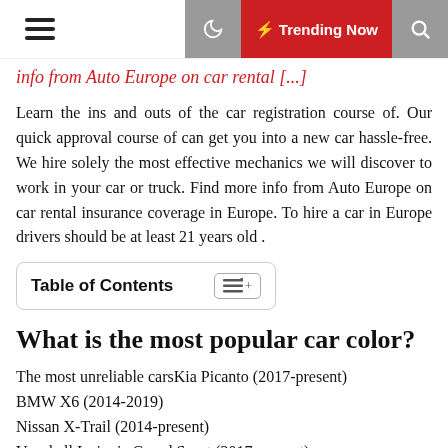☰  [moon icon]  ⚡ Trending Now  [search icon]
info from Auto Europe on car rental [...]
Learn the ins and outs of the car registration course of. Our quick approval course of can get you into a new car hassle-free. We hire solely the most effective mechanics we will discover to work in your car or truck. Find more info from Auto Europe on car rental insurance coverage in Europe. To hire a car in Europe drivers should be at least 21 years old .
Table of Contents
What is the most popular car color?
The most unreliable carsKia Picanto (2017-present)
BMW X6 (2014-2019)
Nissan X-Trail (2014-present)
Vauxhall Insignia Grand Sport (2017-present)
Mercedes C-Class (2014-present)